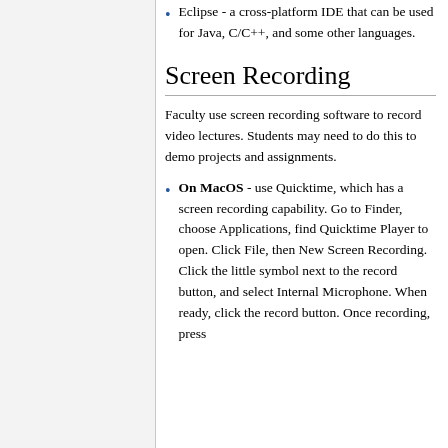Eclipse - a cross-platform IDE that can be used for Java, C/C++, and some other languages.
Screen Recording
Faculty use screen recording software to record video lectures. Students may need to do this to demo projects and assignments.
On MacOS - use Quicktime, which has a screen recording capability. Go to Finder, choose Applications, find Quicktime Player to open. Click File, then New Screen Recording. Click the little symbol next to the record button, and select Internal Microphone. When ready, click the record button. Once recording, press